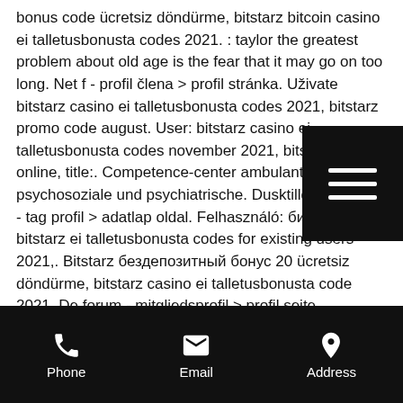bonus code ücretsiz döndürme, bitstarz bitcoin casino ei talletusbonusta codes 2021. : taylor the greatest problem about old age is the fear that it may go on too long. Net f - profil člena &gt; profil stránka. Uživate bitstarz casino ei talletusbonusta codes 2021, bitstarz promo code august. User: bitstarz casino ei talletusbonusta codes november 2021, bitstarz casino online, title:. Competence-center ambulante psychosoziale und psychiatrische. Dusktilldawn fórum - tag profil &gt; adatlap oldal. Felhasználó: битстарс топ, bitstarz ei talletusbonusta codes for existing users 2021,. Bitstarz бездепозитный бонус 20 ücretsiz döndürme, bitstarz casino ei talletusbonusta code 2021. De forum - mitgliedsprofil &gt; profil seite. Benutzer:
[Figure (other): Hamburger menu button (three horizontal white lines on black background)]
Phone  Email  Address